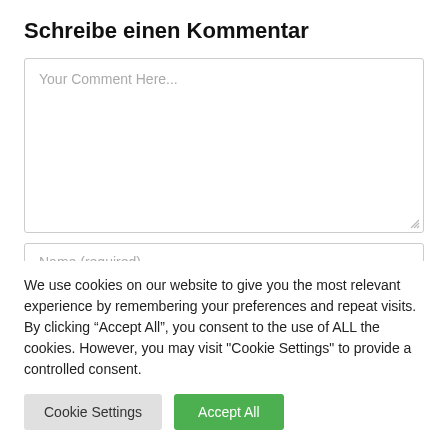Schreibe einen Kommentar
[Figure (screenshot): Comment text area input field with placeholder text 'Your Comment Here...' and a resize handle in the bottom-right corner]
[Figure (screenshot): Name input field with placeholder text 'Name (required)']
We use cookies on our website to give you the most relevant experience by remembering your preferences and repeat visits. By clicking “Accept All”, you consent to the use of ALL the cookies. However, you may visit "Cookie Settings" to provide a controlled consent.
Cookie Settings | Accept All